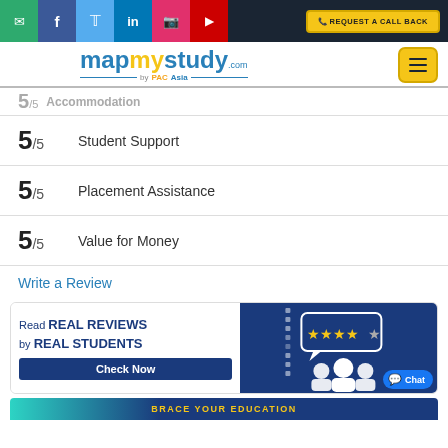mapmystudy.com by PAC Asia — navigation header with social icons and request a call back button
5/5 Accommodation (partial, cut off at top)
5/5  Student Support
5/5  Placement Assistance
5/5  Value for Money
Write a Review
[Figure (infographic): Ad banner: Read REAL REVIEWS by REAL STUDENTS — Check Now button on left; blue panel with star rating speech bubble and people icons on right. Chat button overlay.]
BRACE YOUR EDUCATION (partial, cut off at bottom)